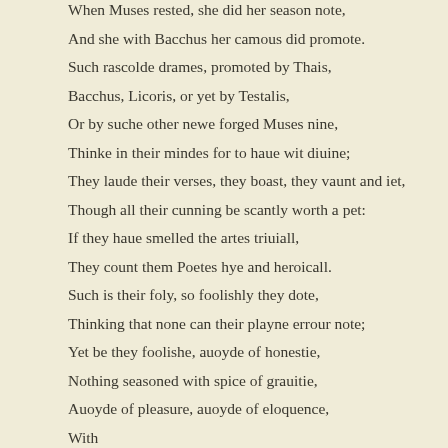When Muses rested, she did her season note,
And she with Bacchus her camous did promote.
Such rascolde drames, promoted by Thais,
Bacchus, Licoris, or yet by Testalis,
Or by suche other newe forged Muses nine,
Thinke in their mindes for to haue wit diuine;
They laude their verses, they boast, they vaunt and iet,
Though all their cunning be scantly worth a pet:
If they haue smelled the artes triuiall,
They count them Poetes hye and heroicall.
Such is their foly, so foolishly they dote,
Thinking that none can their playne errour note;
Yet be they foolishe, auoyde of honestie,
Nothing seasoned with spice of grauitie,
Auoyde of pleasure, auoyde of eloquence,
With...